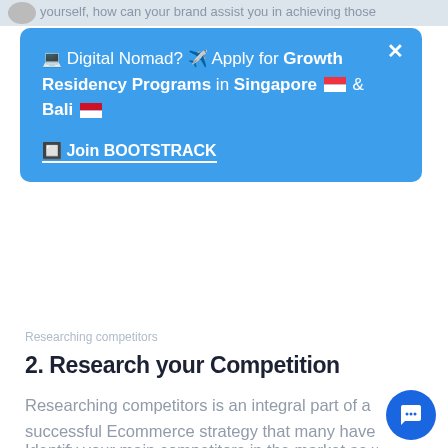yourself, how can your brand assist you in achieving those
[Figure (screenshot): Blue popup banner with text: 💻 Digital Nomad? ✈️ Apply for Growth Residency Programs in Singapore 🇸🇬 & Bali 🇮🇩 — with a link 'Join BOOTSTRACK' and a close (X) button]
Researching competitors
2. Research your Competition
Researching competitors is an integral part of a successful Ecommerce strategy that many have neglected.
Identify your main competitors in the market as well as industry leaders and understand their unique selling points. In this stage, you must note the aspects that you can learn